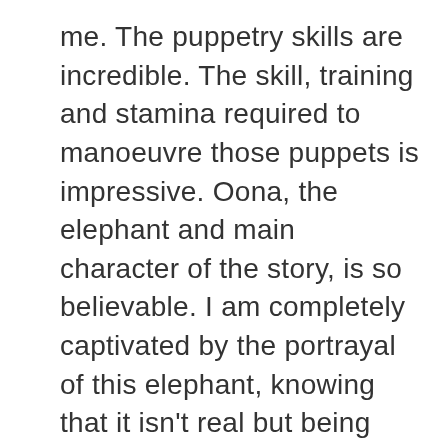me. The puppetry skills are incredible. The skill, training and stamina required to manoeuvre those puppets is impressive. Oona, the elephant and main character of the story, is so believable. I am completely captivated by the portrayal of this elephant, knowing that it isn't real but being utterly drawn in. It takes four puppeteers to move the elephant across the stage, and often I forget they are there. The ease and subtlety of movement must have taken months to perfect.